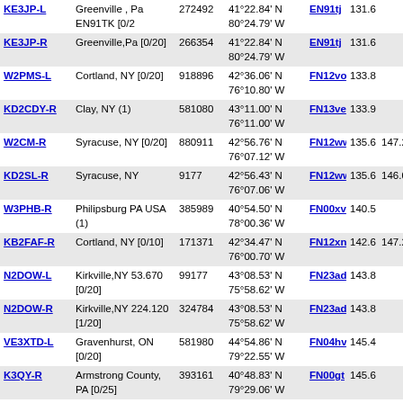| Callsign | Location | Freq | Coordinates | Grid | D1 | D2 |
| --- | --- | --- | --- | --- | --- | --- |
| KE3JP-L | Greenville , Pa EN91TK [0/2 | 272492 | 41°22.84' N 80°24.79' W | EN91tj | 131.6 |  |
| KE3JP-R | Greenville,Pa [0/20] | 266354 | 41°22.84' N 80°24.79' W | EN91tj | 131.6 |  |
| W2PMS-L | Cortland, NY [0/20] | 918896 | 42°36.06' N 76°10.80' W | FN12vo | 133.8 |  |
| KD2CDY-R | Clay, NY (1) | 581080 | 43°11.00' N 76°11.00' W | FN13ve | 133.9 |  |
| W2CM-R | Syracuse, NY [0/20] | 880911 | 42°56.76' N 76°07.12' W | FN12ww | 135.6 | 147.2 |
| KD2SL-R | Syracuse, NY | 9177 | 42°56.43' N 76°07.06' W | FN12ww | 135.6 | 146.0 |
| W3PHB-R | Philipsburg PA USA (1) | 385989 | 40°54.50' N 78°00.36' W | FN00xv | 140.5 |  |
| KB2FAF-R | Cortland, NY [0/10] | 171371 | 42°34.47' N 76°00.70' W | FN12xn | 142.6 | 147.2 |
| N2DOW-L | Kirkville,NY 53.670 [0/20] | 99177 | 43°08.53' N 75°58.62' W | FN23ad | 143.8 |  |
| N2DOW-R | Kirkville,NY 224.120 [1/20] | 324784 | 43°08.53' N 75°58.62' W | FN23ad | 143.8 |  |
| VE3XTD-L | Gravenhurst, ON [0/20] | 581980 | 44°54.86' N 79°22.55' W | FN04hv | 145.4 |  |
| K3QY-R | Armstrong County, PA [0/25] | 393161 | 40°48.83' N 79°29.06' W | FN00gt | 145.6 |  |
| KB3AWQ-R | Williamsport, PA [0/20] | 277377 | 41°12.22' N 76°57.85' W | FN11me | 147.8 | 444.9 |
| N2GSL-L | WILLIAMSPORT,PA | 309509 | 41°12.00' N | FN11ef | 149.0 | 334. |